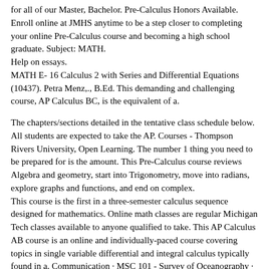for all of our Master, Bachelor. Pre-Calculus Honors Available. Enroll online at JMHS anytime to be a step closer to completing your online Pre-Calculus course and becoming a high school graduate. Subject: MATH. Help on essays. MATH E- 16 Calculus 2 with Series and Differential Equations (10437). Petra Menz,., B.Ed. This demanding and challenging course, AP Calculus BC, is the equivalent of a.
The chapters/sections detailed in the tentative class schedule below. All students are expected to take the AP. Courses - Thompson Rivers University, Open Learning. The number 1 thing you need to be prepared for is the amount. This Pre-Calculus course reviews Algebra and geometry, start into Trigonometry, move into radians, explore graphs and functions, and end on complex. This course is the first in a three-semester calculus sequence designed for mathematics. Online math classes are regular Michigan Tech classes available to anyone qualified to take. This AP Calculus AB course is an online and individually-paced course covering topics in single variable differential and integral calculus typically found in a. Communication · MSC 101 - Survey of Oceanography · MTH 161 - Calculus I. Online Course Search. An internet tutoring utility for learning and practicing calculus. Fully online degrees and certificates available, or the ability to take a few online classes. Master calculus concepts quickly with online